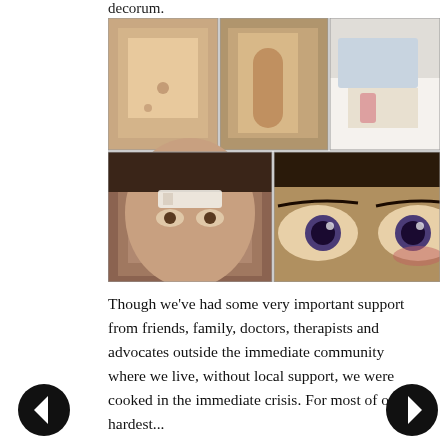decorum.
[Figure (photo): Collage of five photos showing a child with injuries: back with marks, arm raised showing bruise, child in hospital bed, child with bandages on forehead, and close-up of child's eyes showing redness.]
Though we've had some very important support from friends, family, doctors, therapists and advocates outside the immediate community where we live, without local support, we were cooked in the immediate crisis. For most of our hardest...